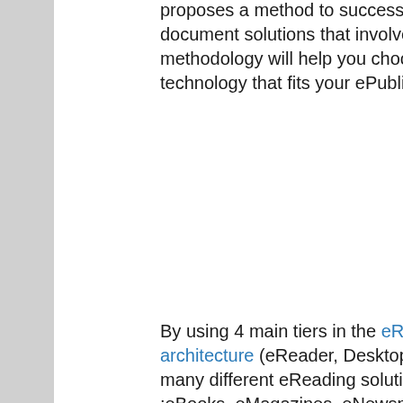proposes a method to successfully design and document solutions that involve electronic reading. The methodology will help you choosing the right eReading technology that fits your ePublishing strategy.
By using 4 main tiers in the eReading Reference architecture (eReader, Desktop, Web and Enterprise), many different eReading solutions can be designed :eBooks, eMagazines, eNewspapers, ePatientFiles.... As a case study, the architecture of a fictive "eBooks Project" is described.
The eBook is also a showcase on how to apply Enterprise Architecture methods like Archimate and KAOS.
I hope this work can help you designing your own killer